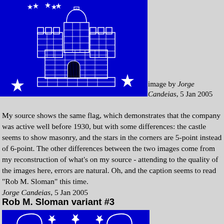[Figure (illustration): A blue flag with a white castle/fortress in the center showing masonry stonework with three towers (two flanking towers with battlements and a central domed tower), and white 5-point stars in the corners and border of the flag.]
image by Jorge Candeias, 5 Jan 2005
My source shows the same flag, which demonstrates that the company was active well before 1930, but with some differences: the castle seems to show masonry, and the stars in the corners are 5-point instead of 6-point. The other differences between the two images come from my reconstruction of what's on my source - attending to the quality of the images here, errors are natural. Oh, and the caption seems to read "Rob M. Sloman" this time.
Jorge Candeias, 5 Jan 2005
Rob M. Sloman variant #3
[Figure (illustration): Bottom portion of a blue flag showing partial white circular/arc shapes and star shapes, similar style to the flag above.]